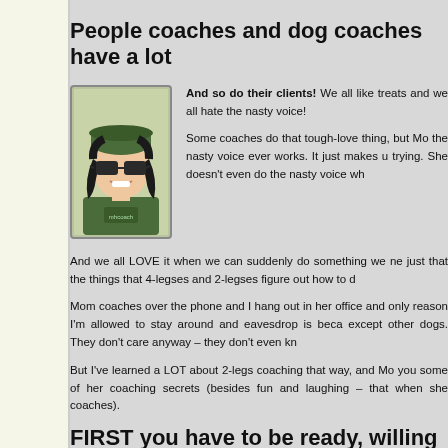People coaches and dog coaches have a lot
[Figure (illustration): Cartoon avatar of a woman wearing a green baseball cap, sunglasses, and a green hoodie that says 'mhcoach']
And so do their clients! We all like treats and we all hate the nasty voice! Some coaches do that tough-love thing, but Mom doesn't think the nasty voice ever works. It just makes us give up trying. She doesn't even do the nasty voice wh
And we all LOVE it when we can suddenly do something we never could before – just that the things that 4-legses and 2-legses figure out how to d
Mom coaches over the phone and I hang out in her office and only reason I'm allowed to stay around and eavesdrop is because except other dogs. They don't care anyway – they don't even kn
But I've learned a LOT about 2-legs coaching that way, and Mom you some of her coaching secrets (besides fun and laughing – that when she coaches).
FIRST you have to be ready, willing and able